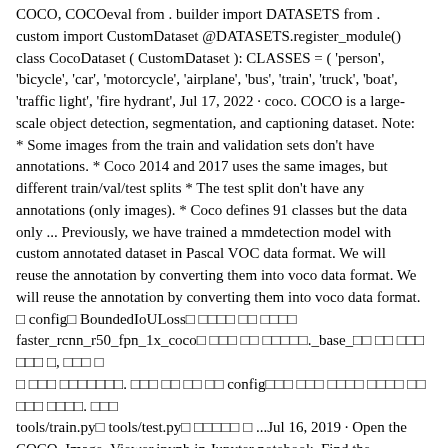COCO, COCOeval from . builder import DATASETS from . custom import CustomDataset @DATASETS.register_module() class CocoDataset ( CustomDataset ): CLASSES = ( 'person', 'bicycle', 'car', 'motorcycle', 'airplane', 'bus', 'train', 'truck', 'boat', 'traffic light', 'fire hydrant', Jul 17, 2022 · coco. COCO is a large-scale object detection, segmentation, and captioning dataset. Note: * Some images from the train and validation sets don't have annotations. * Coco 2014 and 2017 uses the same images, but different train/val/test splits * The test split don't have any annotations (only images). * Coco defines 91 classes but the data only ... Previously, we have trained a mmdetection model with custom annotated dataset in Pascal VOC data format. We will reuse the annotation by converting them into voco data format. We will reuse the annotation by converting them into voco data format. □ config□ BoundedIoULoss□ □□□□ □□ □□□□ faster_rcnn_r50_fpn_1x_coco□ □□□ □□ □□□□□._base_□□ □□ □□□ □□□ □, □□□ □□ □□□ □□□□□□□. □□□ □□ □□ □□ config□□□ □□□ □□□□ □□□□ □□ □□□ □□□□. □□□ tools/train.py□ tools/test.py□ □□□□□ □ ...Jul 16, 2019 · Open the COCO_Image_Viewer.ipynb in Jupyter notebook. Find the following cell inside the notebook which calls the display_image method to generate an SVG graph right inside the notebook. html = coco_dataset.display_image (0, use_url=False) IPython.display.HTML (html) The first argument is the image id, for our demo datasets, there are totally ... May 01, 2014 · The COCO dataset has been developed for large-scale object detection, captioning, and segmentation. The 2017 version of the dataset...